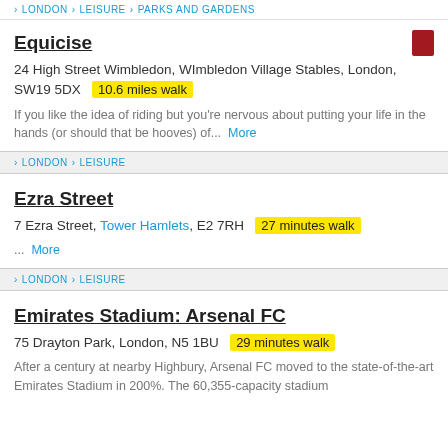LONDON › LEISURE › PARKS AND GARDENS
Equicise
24 High Street Wimbledon, WImbledon Village Stables, London, SW19 5DX  10.6 miles walk
If you like the idea of riding but you're nervous about putting your life in the hands (or should that be hooves) of...  More
LONDON › LEISURE
Ezra Street
7 Ezra Street, Tower Hamlets, E2 7RH  27 minutes walk
...  More
LONDON › LEISURE
Emirates Stadium: Arsenal FC
75 Drayton Park, London, N5 1BU  29 minutes walk
After a century at nearby Highbury, Arsenal FC moved to the state-of-the-art Emirates Stadium in 200%. The 60,355-capacity stadium